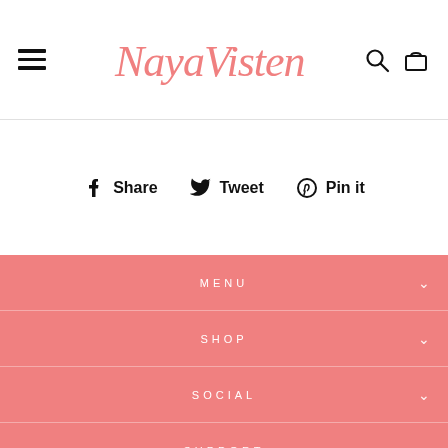[Figure (logo): NayaVisten cursive pink script logo in header]
Share   Tweet   Pin it
MENU
SHOP
SOCIAL
SUPPORT